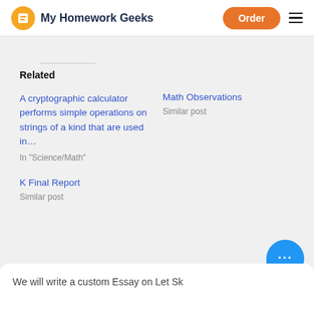My Homework Geeks | Order
Related
A cryptographic calculator performs simple operations on strings of a kind that are used in…
In "Science/Math"
Math Observations
Similar post
K Final Report
Similar post
We will write a custom Essay on Let Sk